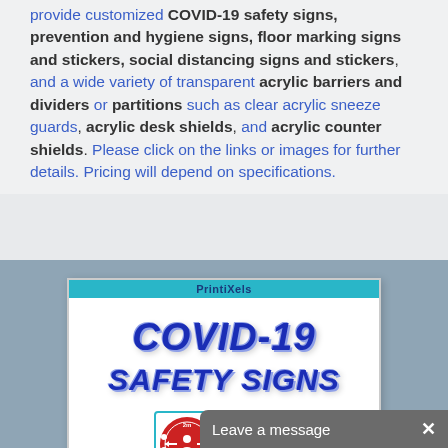provide customized COVID-19 safety signs, prevention and hygiene signs, floor marking signs and stickers, social distancing signs and stickers, and a wide variety of transparent acrylic barriers and dividers or partitions such as clear acrylic sneeze guards, acrylic desk shields, and acrylic counter shields. Please click on the links or images for further details. Pricing will depend on specifications.
[Figure (infographic): PrintiXels COVID-19 Safety Signs promotional image with large stylized blue italic text 'COVID-19' and 'SAFETY SIGNS', with social distancing and safety icon imagery below, displayed on a blue-grey background.]